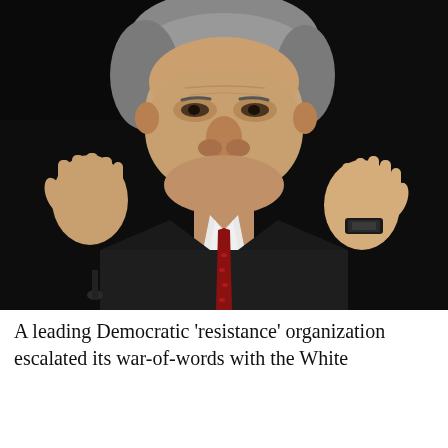[Figure (photo): A man in a dark suit with a red tie, gray hair, gesturing with both hands raised, speaking. Dark background. A microphone is visible at the bottom left.]
A leading Democratic 'resistance' organization escalated its war-of-words with the White